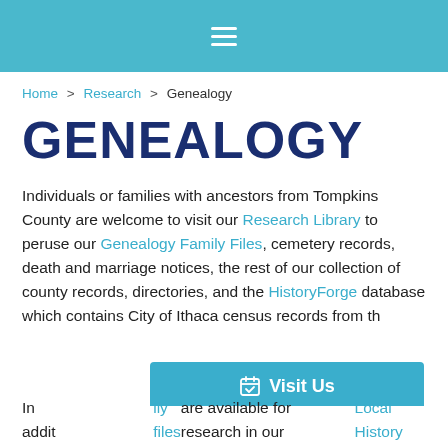≡ (hamburger menu)
Home > Research > Genealogy
GENEALOGY
Individuals or families with ancestors from Tompkins County are welcome to visit our Research Library to peruse our Genealogy Family Files, cemetery records, death and marriage notices, the rest of our collection of county records, directories, and the HistoryForge database which contains City of Ithaca census records from th[e 19th and 20th centuries].
[Figure (other): Teal Visit Us button with calendar checkbox icon]
In addit[ion to genealogy family] files are available for research in our Local History